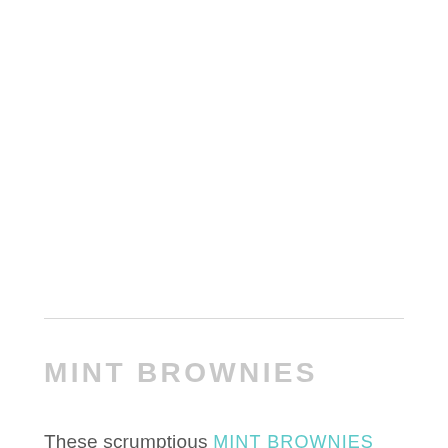MINT BROWNIES
These scrumptious MINT BROWNIES with chocolate ganache are a dessert lover's dream